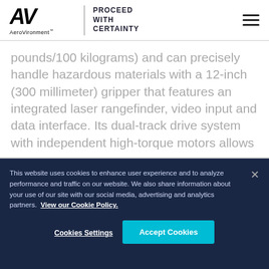AeroVironment™ | PROCEED WITH CERTAINTY
pounds/100 kilograms) and can precisely handle hazardous materials with a 12-inch (300 millimeter) gripper that features an integrated laser rangefinder, video input and data interface. Its dual-track drive system with independent high-torque motors allows
This website uses cookies to enhance user experience and to analyze performance and traffic on our website. We also share information about your use of our site with our social media, advertising and analytics partners. View our Cookie Policy.
Cookies Settings
Accept Cookies